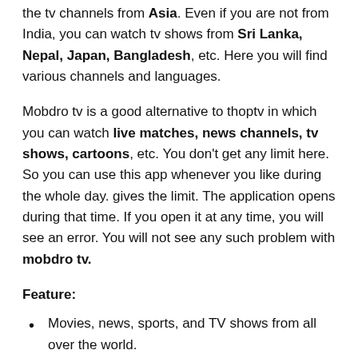the tv channels from Asia. Even if you are not from India, you can watch tv shows from Sri Lanka, Nepal, Japan, Bangladesh, etc. Here you will find various channels and languages.
Mobdro tv is a good alternative to thoptv in which you can watch live matches, news channels, tv shows, cartoons, etc. You don't get any limit here. So you can use this app whenever you like during the whole day. gives the limit. The application opens during that time. If you open it at any time, you will see an error. You will not see any such problem with mobdro tv.
Feature:
Movies, news, sports, and TV shows from all over the world.